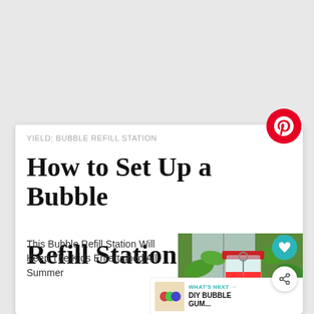YIELD: BUBBLE REFILL STATION
How to Set Up a Bubble Refill Station
This Bubble Refill Station Will Keep The Kids Entertained All Summer
[Figure (photo): Photo of a colorful bubble refill station jar with yellow flowers in background]
WHAT'S NEXT → DIY BUBBLE GUM...